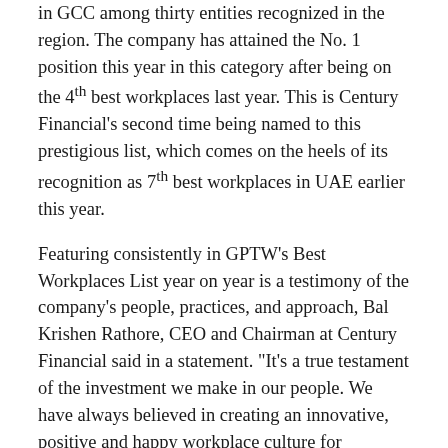in GCC among thirty entities recognized in the region. The company has attained the No. 1 position this year in this category after being on the 4th best workplaces last year. This is Century Financial's second time being named to this prestigious list, which comes on the heels of its recognition as 7th best workplaces in UAE earlier this year.
Featuring consistently in GPTW's Best Workplaces List year on year is a testimony of the company's people, practices, and approach, Bal Krishen Rathore, CEO and Chairman at Century Financial said in a statement. "It's a true testament of the investment we make in our people. We have always believed in creating an innovative, positive and happy workplace culture for Millennials, and the result is showing with our #1 ranking this year", he added.
The Best Workplaces for Millennials list is highly competitive and is based on the confidential feedback of employees. To select the 'Best Workplaces for Millennials', Great Place to